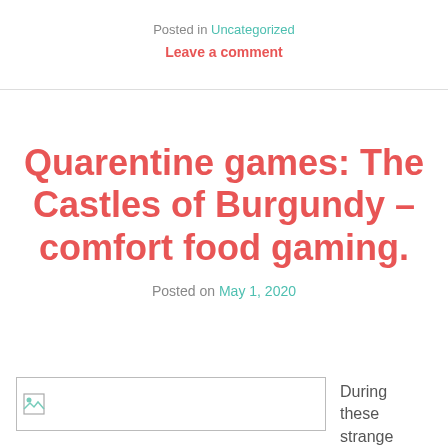Posted in Uncategorized
Leave a comment
Quarentine games: The Castles of Burgundy – comfort food gaming.
Posted on May 1, 2020
[Figure (photo): Image placeholder for blog post]
During these strange